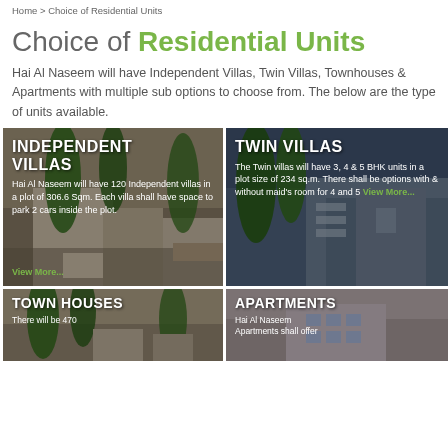Home > Choice of Residential Units
Choice of Residential Units
Hai Al Naseem will have Independent Villas, Twin Villas, Townhouses & Apartments with multiple sub options to choose from. The below are the type of units available.
[Figure (photo): Independent Villas card with palm trees and white villa building. Text overlay: INDEPENDENT VILLAS. Hai Al Naseem will have 120 Independent villas in a plot of 306.6 Sqm. Each villa shall have space to park 2 cars inside the plot. View More...]
[Figure (photo): Twin Villas card with palm trees and modern building at dusk. Text overlay: TWIN VILLAS. The Twin villas will have 3, 4 & 5 BHK units in a plot size of 234 sq.m. There shall be options with & without maid's room for 4 and 5 View More...]
[Figure (photo): Town Houses card with palm trees. Text overlay: TOWN HOUSES. There will be 470]
[Figure (photo): Apartments card. Text overlay: APARTMENTS. Hai Al Naseem Apartments shall offer]